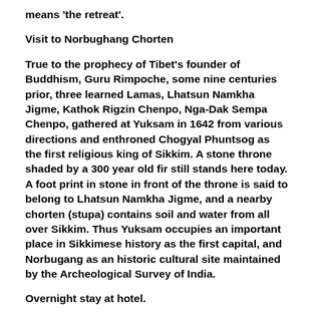means 'the retreat'.
Visit to Norbughang Chorten
True to the prophecy of Tibet's founder of Buddhism, Guru Rimpoche, some nine centuries prior, three learned Lamas, Lhatsun Namkha Jigme, Kathok Rigzin Chenpo, Nga-Dak Sempa Chenpo, gathered at Yuksam in 1642 from various directions and enthroned Chogyal Phuntsog as the first religious king of Sikkim. A stone throne shaded by a 300 year old fir still stands here today. A foot print in stone in front of the throne is said to belong to Lhatsun Namkha Jigme, and a nearby chorten (stupa) contains soil and water from all over Sikkim. Thus Yuksam occupies an important place in Sikkimese history as the first capital, and Norbugang as an historic cultural site maintained by the Archeological Survey of India.
Overnight stay at hotel.